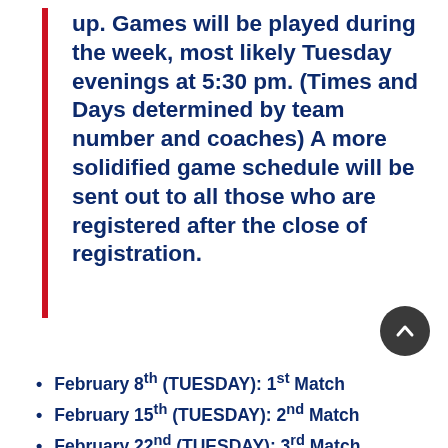up. Games will be played during the week, most likely Tuesday evenings at 5:30 pm. (Times and Days determined by team number and coaches) A more solidified game schedule will be sent out to all those who are registered after the close of registration.
February 8th (TUESDAY): 1st Match
February 15th (TUESDAY): 2nd Match
February 22nd (TUESDAY): 3rd Match